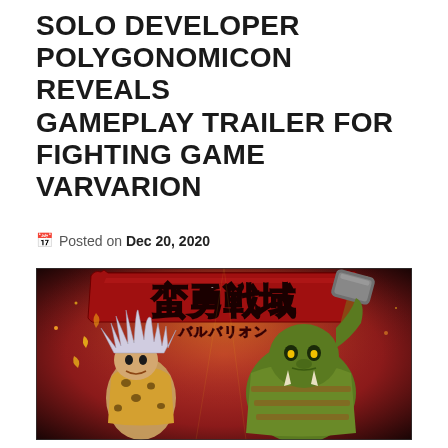SOLO DEVELOPER POLYGONOMICON REVEALS GAMEPLAY TRAILER FOR FIGHTING GAME VARVARION
Posted on Dec 20, 2020
[Figure (illustration): Anime-style fighting game key art showing two warriors battling. On the left is a spiky-haired fighter in leopard-print clothing, on the right is a large green orc-like warrior holding a weapon. Above them is a red banner with large Japanese kanji text reading '蛮勇戦域' and below it in katakana 'バルバリオン'. The background has a dark reddish atmospheric sky with sparkles/embers.]